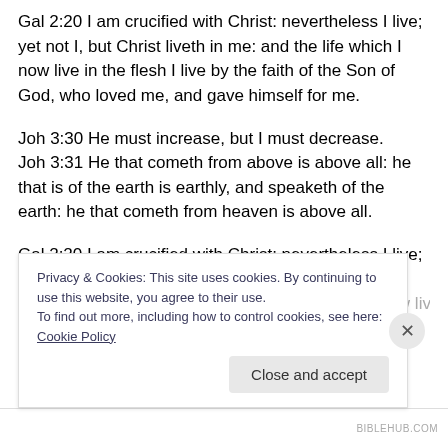Gal 2:20 I am crucified with Christ: nevertheless I live; yet not I, but Christ liveth in me: and the life which I now live in the flesh I live by the faith of the Son of God, who loved me, and gave himself for me.
Joh 3:30 He must increase, but I must decrease.
Joh 3:31 He that cometh from above is above all: he that is of the earth is earthly, and speaketh of the earth: he that cometh from heaven is above all.
Gal 2:20 I am crucified with Christ: nevertheless I live; yet not I, but Christ liveth in me: and the life which I now live in…
Privacy & Cookies: This site uses cookies. By continuing to use this website, you agree to their use.
To find out more, including how to control cookies, see here: Cookie Policy
Close and accept